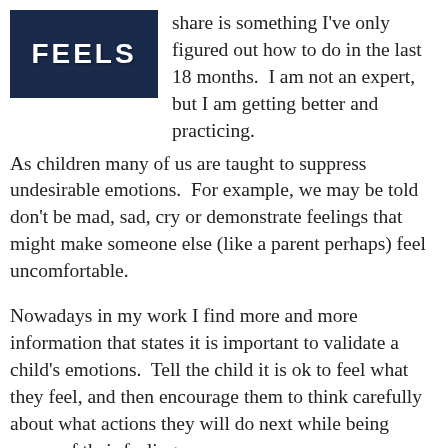[Figure (illustration): Dark navy blue image with bold white text reading 'FEELS']
share is something I've only figured out how to do in the last 18 months.  I am not an expert, but I am getting better and practicing.
As children many of us are taught to suppress undesirable emotions.  For example, we may be told don't be mad, sad, cry or demonstrate feelings that might make someone else (like a parent perhaps) feel uncomfortable.
Nowadays in my work I find more and more information that states it is important to validate a child's emotions.  Tell the child it is ok to feel what they feel, and then encourage them to think carefully about what actions they will do next while being aware of their feelings.